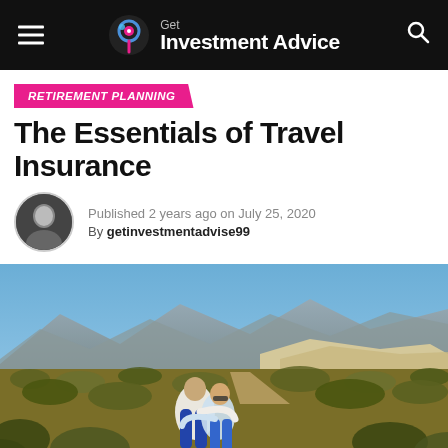Get Investment Advice
RETIREMENT PLANNING
The Essentials of Travel Insurance
Published 2 years ago on July 25, 2020
By getinvestmentadvise99
[Figure (photo): Middle-aged couple hugging outdoors in a rocky desert landscape with mountains in the background under a clear blue sky.]